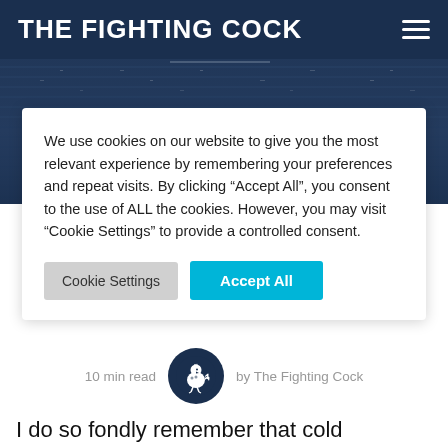THE FIGHTING COCK
[Figure (photo): Stadium background image with dark blue overlay]
We use cookies on our website to give you the most relevant experience by remembering your preferences and repeat visits. By clicking “Accept All”, you consent to the use of ALL the cookies. However, you may visit “Cookie Settings” to provide a controlled consent.
Cookie Settings | Accept All
10 min read   by The Fighting Cock
I do so fondly remember that cold September evening 16